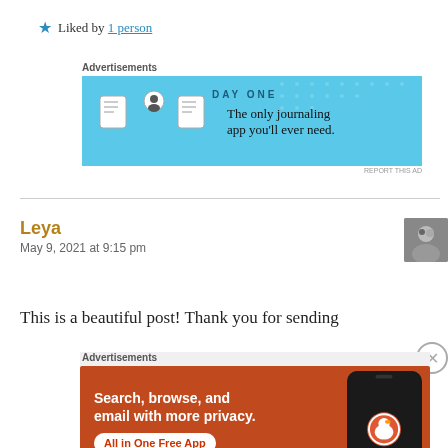★ Liked by 1 person
[Figure (screenshot): Day One journaling app advertisement banner — light blue background with circular app icons and text: 'The only journaling app you'll ever need.']
Leya
May 9, 2021 at 9:15 pm
This is a beautiful post! Thank you for sending
[Figure (screenshot): DuckDuckGo advertisement banner — orange/red background with text 'Search, browse, and email with more privacy. All in One Free App' and a phone showing DuckDuckGo logo]